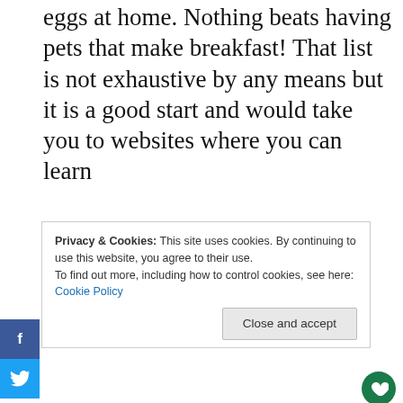eggs at home. Nothing beats having pets that make breakfast! That list is not exhaustive by any means but it is a good start and would take you to websites where you can learn
Privacy & Cookies: This site uses cookies. By continuing to use this website, you agree to their use. To find out more, including how to control cookies, see here: Cookie Policy
Close and accept
eb! I am constantly finding new things to add so there will be new things all the time You will never run out of egg recipes!
WHAT'S NEXT → 69 Low Carb Keto Breakf...
When is National Egg Day and
[Figure (screenshot): Advertisement banner with 'Thank you' script text and Operation Gratitude military imagery]